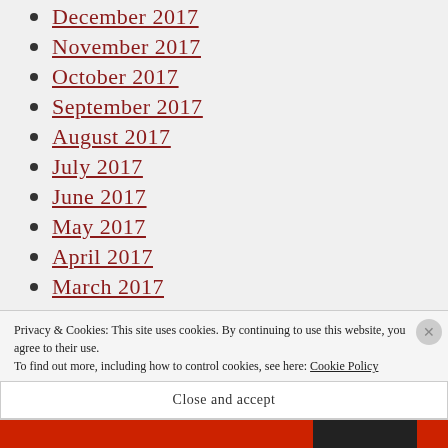December 2017
November 2017
October 2017
September 2017
August 2017
July 2017
June 2017
May 2017
April 2017
March 2017
February 2017
Privacy & Cookies: This site uses cookies. By continuing to use this website, you agree to their use. To find out more, including how to control cookies, see here: Cookie Policy
Close and accept